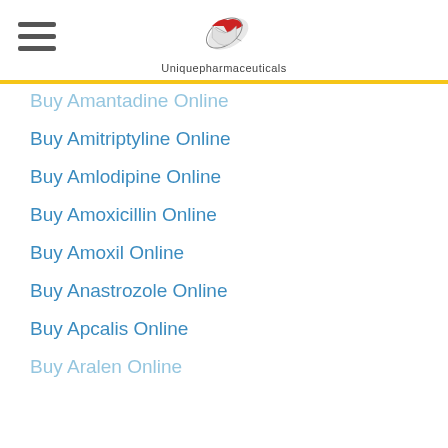[Figure (logo): Uniquepharmaceuticals logo with pill icon and text]
Buy Amantadine Online
Buy Amitriptyline Online
Buy Amlodipine Online
Buy Amoxicillin Online
Buy Amoxil Online
Buy Anastrozole Online
Buy Apcalis Online
Buy Aralen Online